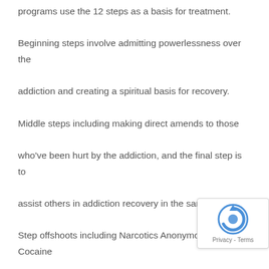programs use the 12 steps as a basis for treatment. Beginning steps involve admitting powerlessness over the addiction and creating a spiritual basis for recovery. Middle steps including making direct amends to those who've been hurt by the addiction, and the final step is to assist others in addiction recovery in the same way. 12-Step offshoots including Narcotics Anonymous , Cocaine Anonymous , Dual Recovery Anonymous , Sex and Love Addicts Anonymous and Gamblers Anonymous . Although we don't operate as a sober living home, Spring Hill does coordinate with nearby sober residences in Massachusetts to continue providing supportive treatment services to people in early sobriety.
[Figure (other): reCAPTCHA badge with logo and Privacy - Terms text]